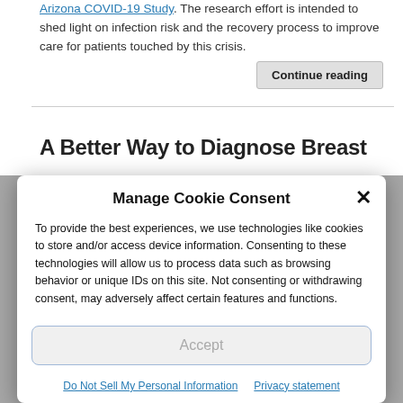Arizona COVID-19 Study. The research effort is intended to shed light on infection risk and the recovery process to improve care for patients touched by this crisis.
Continue reading
A Better Way to Diagnose Breast
Manage Cookie Consent
To provide the best experiences, we use technologies like cookies to store and/or access device information. Consenting to these technologies will allow us to process data such as browsing behavior or unique IDs on this site. Not consenting or withdrawing consent, may adversely affect certain features and functions.
Accept
Do Not Sell My Personal Information   Privacy statement